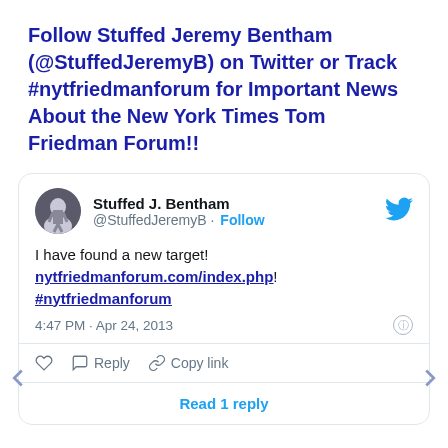Follow Stuffed Jeremy Bentham (@StuffedJeremyB) on Twitter or Track #nytfriedmanforum for Important News About the New York Times Tom Friedman Forum!!
[Figure (screenshot): Embedded tweet from @StuffedJeremyB (Stuffed J. Bentham) posted Apr 24, 2013 at 4:47 PM. Tweet text: 'I have found a new target! nytfriedmanforum.com/index.php! #nytfriedmanforum'. Shows avatar, follow button, like/reply/copy-link actions, and 'Read 1 reply' button.]